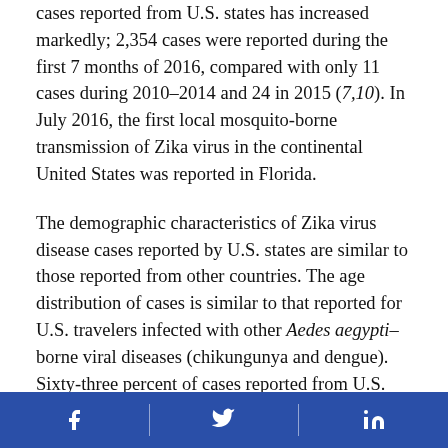cases reported from U.S. states has increased markedly; 2,354 cases were reported during the first 7 months of 2016, compared with only 11 cases during 2010–2014 and 24 in 2015 (7,10). In July 2016, the first local mosquito-borne transmission of Zika virus in the continental United States was reported in Florida.
The demographic characteristics of Zika virus disease cases reported by U.S. states are similar to those reported from other countries. The age distribution of cases is similar to that reported for U.S. travelers infected with other Aedes aegypti–borne viral diseases (chikungunya and dengue). Sixty-three percent of cases reported from U.S. states in 2016 have been in females, similar to the proportion of symptomatic cases in females (61%) reported in Yap,
Facebook | Twitter | LinkedIn